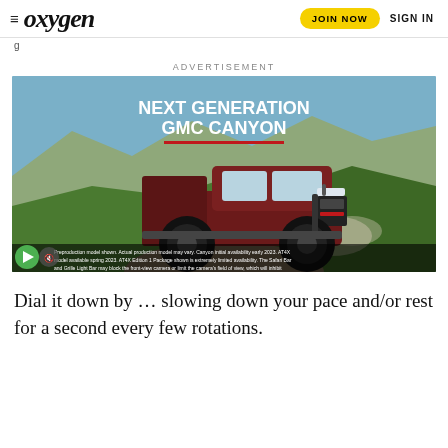≡ oxygen  JOIN NOW  SIGN IN
g
ADVERTISEMENT
[Figure (photo): Advertisement for the Next Generation GMC Canyon pickup truck. A dark red GMC Canyon AT4X is driving on a dirt trail in a scenic mountain landscape with green hills and mountains in the background. Bold white text reads 'NEXT GENERATION GMC CANYON' with a red underline bar. A video play button (green circle) and mute button are visible in the bottom left. Disclaimer text appears at the bottom.]
Dial it down by … slowing down your pace and/or rest for a second every few rotations.